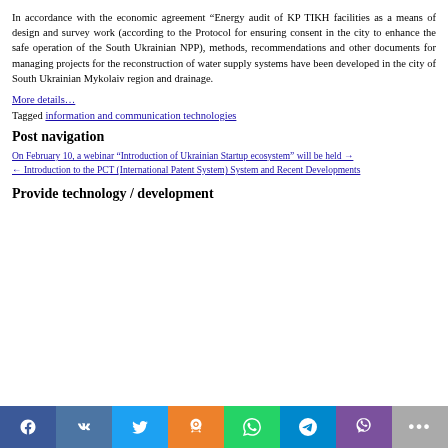In accordance with the economic agreement “Energy audit of KP TIKH facilities as a means of design and survey work (according to the Protocol for ensuring consent in the city to enhance the safe operation of the South Ukrainian NPP), methods, recommendations and other documents for managing projects for the reconstruction of water supply systems have been developed in the city of South Ukrainian Mykolaiv region and drainage.
More details…
Tagged information and communication technologies
Post navigation
On February 10, a webinar “Introduction of Ukrainian Startup ecosystem” will be held →
← Introduction to the PCT (International Patent System) System and Recent Developments
Provide technology / development
[Figure (infographic): Social sharing buttons bar: Facebook, VK, Twitter, Odnoklassniki, WhatsApp, Telegram, Viber, More]